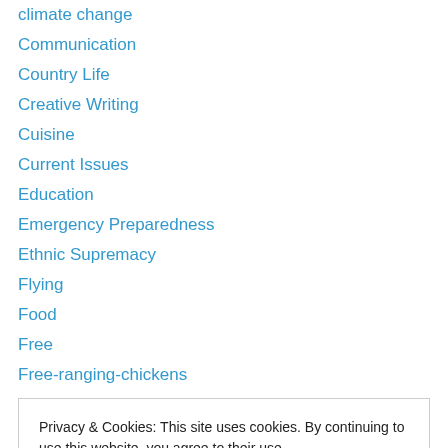climate change
Communication
Country Life
Creative Writing
Cuisine
Current Issues
Education
Emergency Preparedness
Ethnic Supremacy
Flying
Food
Free
Free-ranging-chickens
Privacy & Cookies: This site uses cookies. By continuing to use this website, you agree to their use.
To find out more, including how to control cookies, see here: Cookie Policy
History